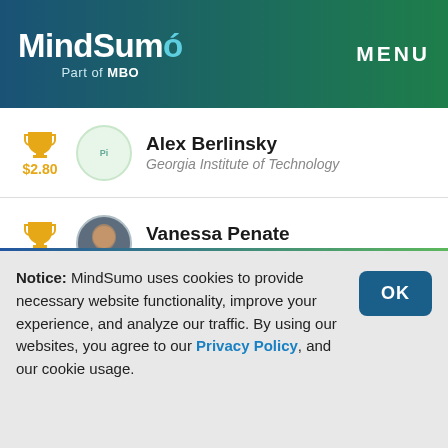MindSumo Part of MBO | MENU
Alex Berlinsky | Georgia Institute of Technology | $2.80
Vanessa Penate | Miami Dade College | $2.80
Martin Lee | University of California, Berkeley | $2.80
Notice: MindSumo uses cookies to provide necessary website functionality, improve your experience, and analyze our traffic. By using our websites, you agree to our Privacy Policy, and our cookie usage.